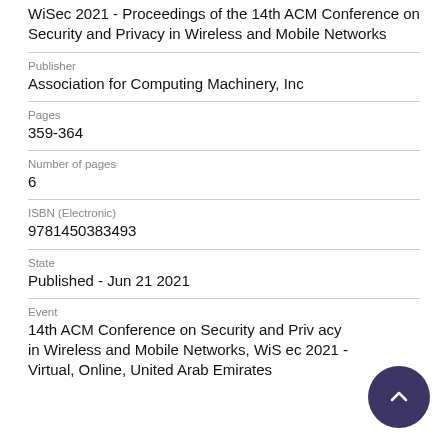WiSec 2021 - Proceedings of the 14th ACM Conference on Security and Privacy in Wireless and Mobile Networks
Publisher
Association for Computing Machinery, Inc
Pages
359-364
Number of pages
6
ISBN (Electronic)
9781450383493
State
Published - Jun 21 2021
Event
14th ACM Conference on Security and Privacy in Wireless and Mobile Networks, WiSec 2021 - Virtual, Online, United Arab Emirates